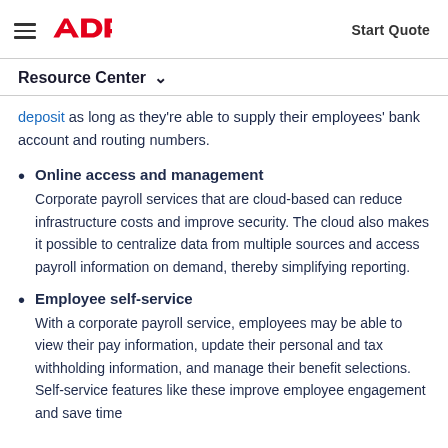ADP — Start Quote
Resource Center
deposit as long as they're able to supply their employees' bank account and routing numbers.
Online access and management — Corporate payroll services that are cloud-based can reduce infrastructure costs and improve security. The cloud also makes it possible to centralize data from multiple sources and access payroll information on demand, thereby simplifying reporting.
Employee self-service — With a corporate payroll service, employees may be able to view their pay information, update their personal and tax withholding information, and manage their benefit selections. Self-service features like these improve employee engagement and save time